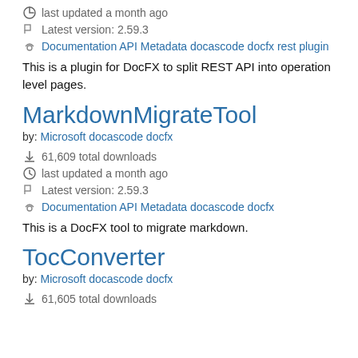61,609 total downloads
last updated a month ago
Latest version: 2.59.3
Documentation API Metadata docascode docfx rest plugin
This is a plugin for DocFX to split REST API into operation level pages.
MarkdownMigrateTool
by: Microsoft docascode docfx
61,609 total downloads
last updated a month ago
Latest version: 2.59.3
Documentation API Metadata docascode docfx
This is a DocFX tool to migrate markdown.
TocConverter
by: Microsoft docascode docfx
61,605 total downloads